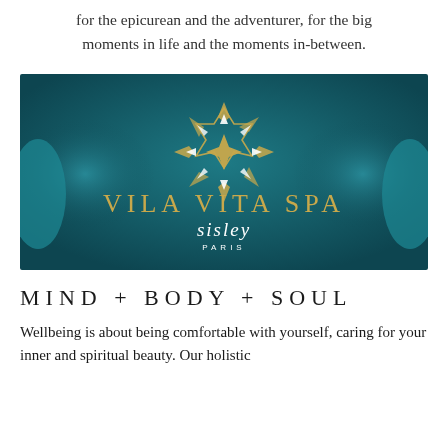for the epicurean and the adventurer, for the big moments in life and the moments in-between.
[Figure (logo): Vila Vita Spa and Sisley Paris logo on a teal/dark teal blurred background with an ornate star/mandala geometric design in gold and white, and two blurred teal cylindrical shapes on either side.]
MIND + BODY + SOUL
Wellbeing is about being comfortable with yourself, caring for your inner and spiritual beauty. Our holistic